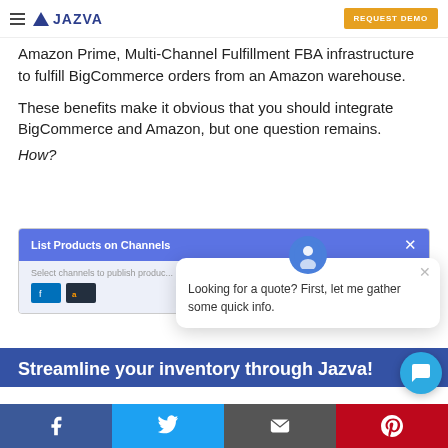Jazva — REQUEST DEMO
Amazon Prime, Multi-Channel Fulfillment FBA infrastructure to fulfill BigCommerce orders from an Amazon warehouse.
These benefits make it obvious that you should integrate BigCommerce and Amazon, but one question remains. How?
[Figure (screenshot): BigCommerce 'List Products on Channels' UI panel showing channel selection options with Amazon and BigCommerce icons]
[Figure (screenshot): Chat popup widget with avatar icon saying: Looking for a quote? First, let me gather some quick info.]
Streamline your inventory through Jazva!
Social share bar: Facebook, Twitter, Email, Pinterest